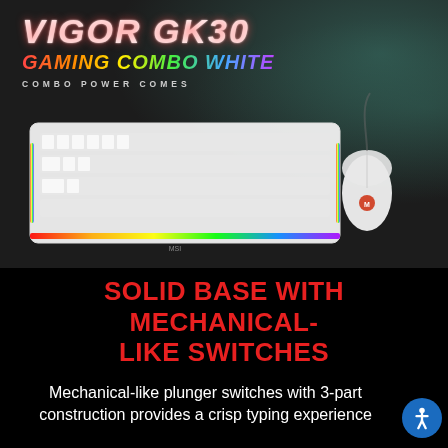[Figure (photo): Product promotional image for MSI VIGOR GK30 Gaming Combo White keyboard and mouse set. White keyboard with RGB lighting and white gaming mouse displayed on dark textured background with teal/green nebula effect in top-right corner. Text overlay reads 'VIGOR GK30 GAMING COMBO WHITE COMBO POWER COMES'.]
SOLID BASE WITH MECHANICAL-LIKE SWITCHES
Mechanical-like plunger switches with 3-part construction provides a crisp typing experience with over 10 million life...